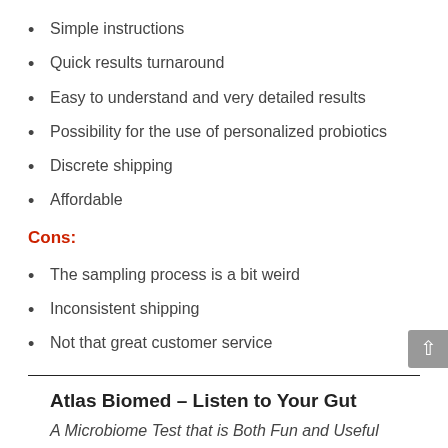Simple instructions
Quick results turnaround
Easy to understand and very detailed results
Possibility for the use of personalized probiotics
Discrete shipping
Affordable
Cons:
The sampling process is a bit weird
Inconsistent shipping
Not that great customer service
Atlas Biomed – Listen to Your Gut
A Microbiome Test that is Both Fun and Useful